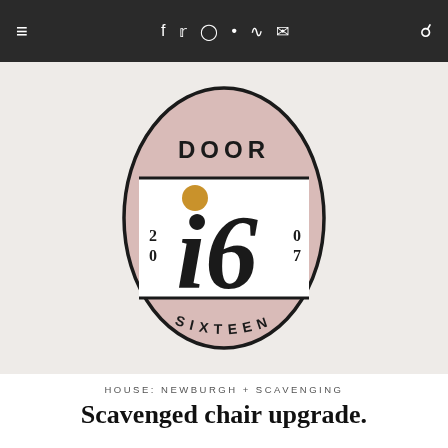≡  f  t  Instagram  Pinterest  RSS  Mail  Search
[Figure (logo): Door Sixteen logo — oval badge shape with pink/mauve fill, black outline. Top reads 'DOOR' in serif caps, center white rectangle contains italic '16' with gold circle above the 'i', flanked by '2 0' and '0 7' on sides, bottom curved section reads 'SIXTEEN' in spaced caps.]
HOUSE: NEWBURGH + SCAVENGING
Scavenged chair upgrade.